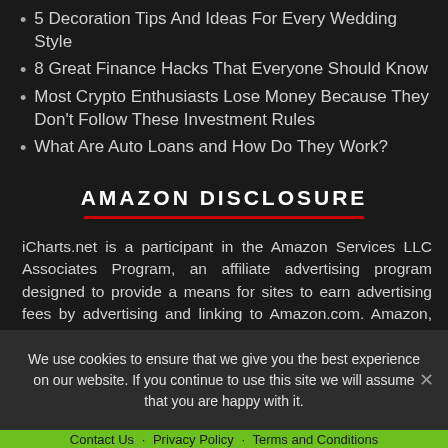5 Decoration Tips And Ideas For Every Wedding Style
8 Great Finance Hacks That Everyone Should Know
Most Crypto Enthusiasts Lose Money Because They Don't Follow These Investment Rules
What Are Auto Loans and How Do They Work?
AMAZON DISCLOSURE
iCharts.net is a participant in the Amazon Services LLC Associates Program, an affiliate advertising program designed to provide a means for sites to earn advertising fees by advertising and linking to Amazon.com. Amazon, the Amazon
We use cookies to ensure that we give you the best experience on our website. If you continue to use this site we will assume that you are happy with it.
Contact Us · Privacy Policy · Terms and Conditions